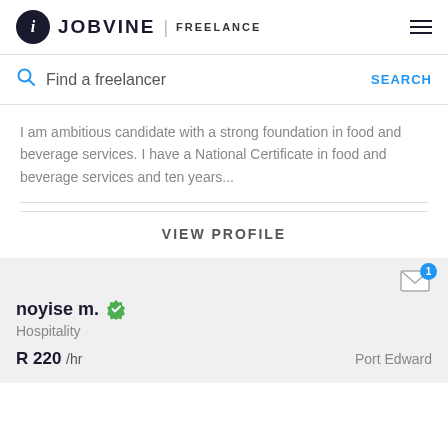JOBVINE | FREELANCE
Find a freelancer   SEARCH
I am ambitious candidate with a strong foundation in food and beverage services. I have a National Certificate in food and beverage services and ten years...
VIEW PROFILE
noyise m.  Hospitality  R 220 /hr  Port Edward